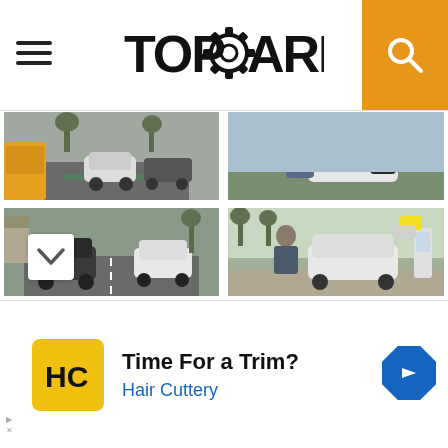[Figure (screenshot): TopGearbox website header with hamburger menu, TopGearbox logo, and orange search button]
[Figure (photo): Grid of 6 video thumbnail photos showing cars (BMW i3 and VW Golf) driving on city streets, two people at a car trunk, cars at an EV charging station, a car on a wooded road, and a crowd of people cheering]
[Figure (infographic): Advertisement for Hair Cuttery with HC logo, headline 'Time For a Trim?', subtext 'Hair Cuttery', and a blue navigation arrow icon]